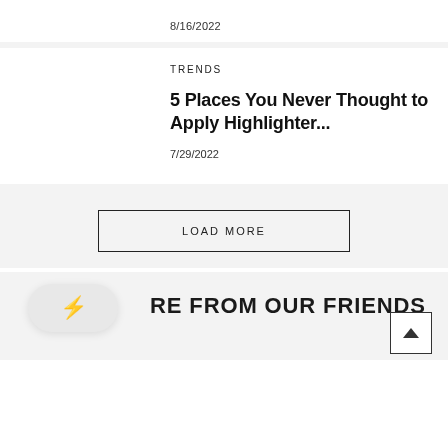8/16/2022
TRENDS
5 Places You Never Thought to Apply Highlighter...
7/29/2022
LOAD MORE
RE FROM OUR FRIENDS